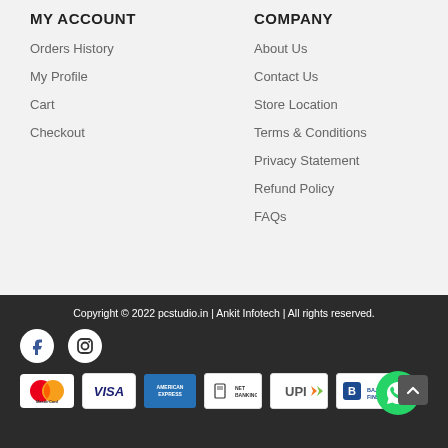MY ACCOUNT
Orders History
My Profile
Cart
Checkout
COMPANY
About Us
Contact Us
Store Location
Terms & Conditions
Privacy Statement
Refund Policy
FAQs
Copyright © 2022 pcstudio.in | Ankit Infotech | All rights reserved.
[Figure (logo): Facebook and Instagram social icons, payment method logos: MasterCard, VISA, American Express, Net Banking, UPI, Bajaj Finserv, WhatsApp chat button, scroll to top button]